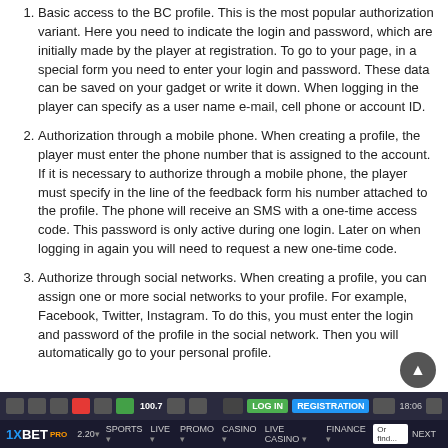Basic access to the BC profile. This is the most popular authorization variant. Here you need to indicate the login and password, which are initially made by the player at registration. To go to your page, in a special form you need to enter your login and password. These data can be saved on your gadget or write it down. When logging in the player can specify as a user name e-mail, cell phone or account ID.
Authorization through a mobile phone. When creating a profile, the player must enter the phone number that is assigned to the account. If it is necessary to authorize through a mobile phone, the player must specify in the line of the feedback form his number attached to the profile. The phone will receive an SMS with a one-time access code. This password is only active during one login. Later on when logging in again you will need to request a new one-time code.
Authorize through social networks. When creating a profile, you can assign one or more social networks to your profile. For example, Facebook, Twitter, Instagram. To do this, you must enter the login and password of the profile in the social network. Then you will automatically go to your personal profile.
[Figure (screenshot): Screenshot of 1xBET website navigation bar at the bottom of the page]